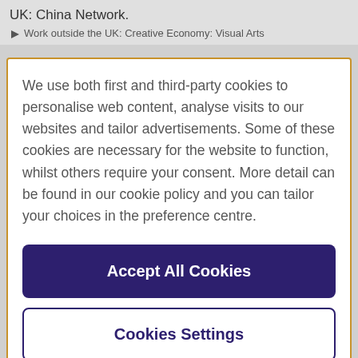UK: China Network.
Work outside the UK: Creative Economy: Visual Arts
We use both first and third-party cookies to personalise web content, analyse visits to our websites and tailor advertisements. Some of these cookies are necessary for the website to function, whilst others require your consent. More detail can be found in our cookie policy and you can tailor your choices in the preference centre.
Accept All Cookies
Cookies Settings